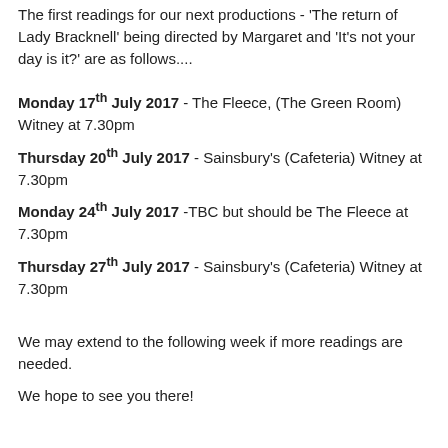The first readings for our next productions - 'The return of Lady Bracknell' being directed by Margaret and 'It's not your day is it?' are as follows....
Monday 17th July 2017 - The Fleece, (The Green Room) Witney at 7.30pm
Thursday 20th July 2017 - Sainsbury's (Cafeteria) Witney at 7.30pm
Monday 24th July 2017 -TBC but should be The Fleece at 7.30pm
Thursday 27th July 2017 - Sainsbury's (Cafeteria) Witney at 7.30pm
We may extend to the following week if more readings are needed.
We hope to see you there!